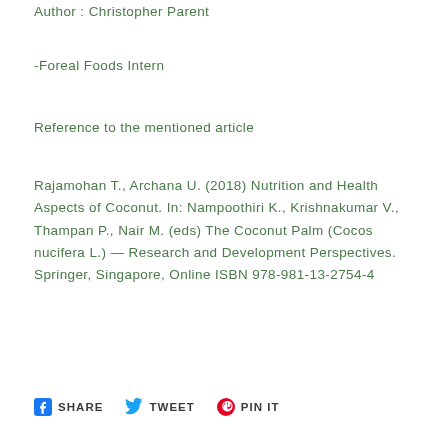Author : Christopher Parent
-Foreal Foods Intern
Reference to the mentioned article
Rajamohan T., Archana U. (2018) Nutrition and Health Aspects of Coconut. In: Nampoothiri K., Krishnakumar V., Thampan P., Nair M. (eds) The Coconut Palm (Cocos nucifera L.) — Research and Development Perspectives. Springer, Singapore, Online ISBN 978-981-13-2754-4
SHARE  TWEET  PIN IT